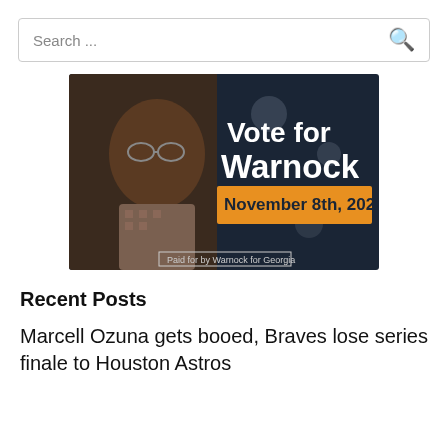Search ...
[Figure (photo): Campaign advertisement image for Raphael Warnock showing a man in glasses against a dark background with text 'Vote for Warnock' in white and 'November 8th, 2022' on an orange banner. Bottom reads 'Paid for by Warnock for Georgia'.]
Recent Posts
Marcell Ozuna gets booed, Braves lose series finale to Houston Astros